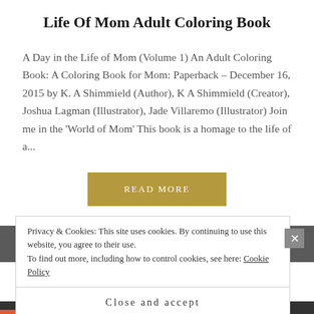Life Of Mom Adult Coloring Book
A Day in the Life of Mom (Volume 1) An Adult Coloring Book: A Coloring Book for Mom: Paperback – December 16, 2015 by K. A Shimmield (Author), K A Shimmield (Creator), Joshua Lagman (Illustrator), Jade Villaremo (Illustrator) Join me in the 'World of Mom' This book is a homage to the life of a...
READ MORE
Privacy & Cookies: This site uses cookies. By continuing to use this website, you agree to their use.
To find out more, including how to control cookies, see here: Cookie Policy
Close and accept